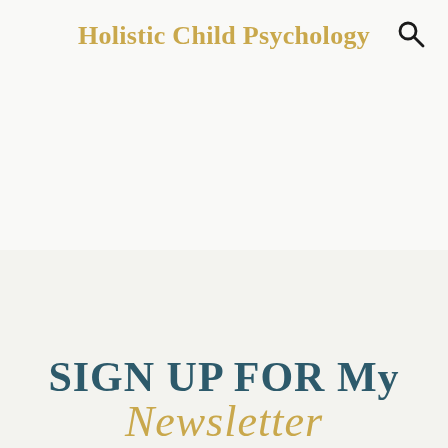Holistic Child Psychology
SIGN UP FOR My Newsletter